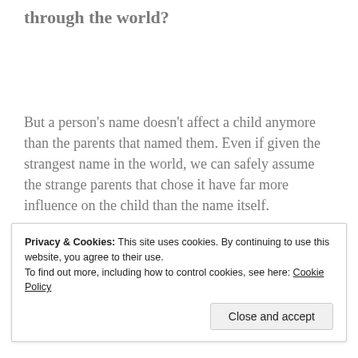through the world?
But a person's name doesn't affect a child anymore than the parents that named them. Even if given the strangest name in the world, we can safely assume the strange parents that chose it have far more influence on the child than the name itself.
This revelation is at once comforting and frightening.
Privacy & Cookies: This site uses cookies. By continuing to use this website, you agree to their use.
To find out more, including how to control cookies, see here: Cookie Policy
Close and accept